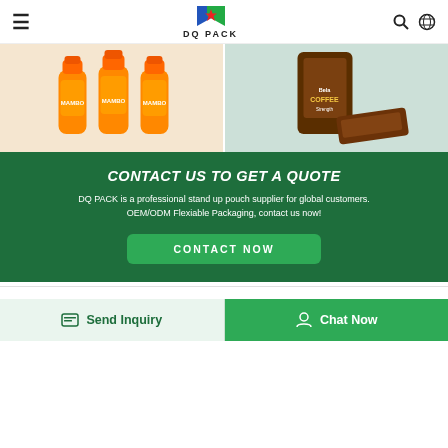DQ PACK navigation header with hamburger menu, logo, search and globe icons
[Figure (photo): Two orange sauce/drink bottles (MAMBO brand) on a light cream/peach background]
[Figure (photo): Coffee packaging bag (Bela brand, COFFEE label) with dark brown color on a light teal background]
CONTACT US TO GET A QUOTE
DQ PACK is a professional stand up pouch supplier for global customers. OEM/ODM Flexiable Packaging, contact us now!
CONTACT NOW
Send Inquiry
Chat Now